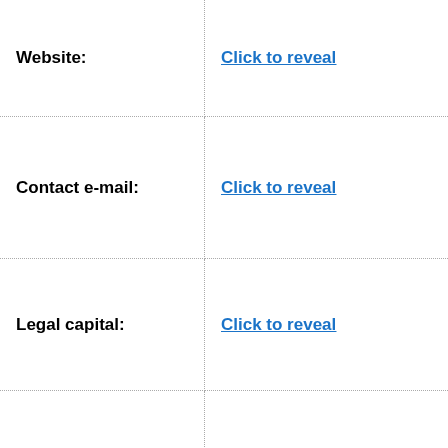| Field | Value |
| --- | --- |
| Website: | Click to reveal |
| Contact e-mail: | Click to reveal |
| Legal capital: | Click to reveal |
| Office hours: | Click to reveal |
| Country: | China |